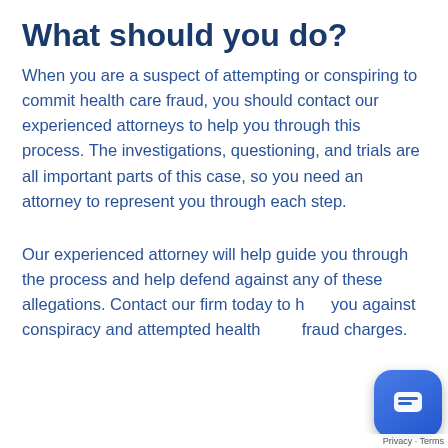What should you do?
When you are a suspect of attempting or conspiring to commit health care fraud, you should contact our experienced attorneys to help you through this process. The investigations, questioning, and trials are all important parts of this case, so you need an attorney to represent you through each step.
Our experienced attorney will help guide you through the process and help defend against any of these allegations. Contact our firm today to help you against conspiracy and attempted health care fraud charges.